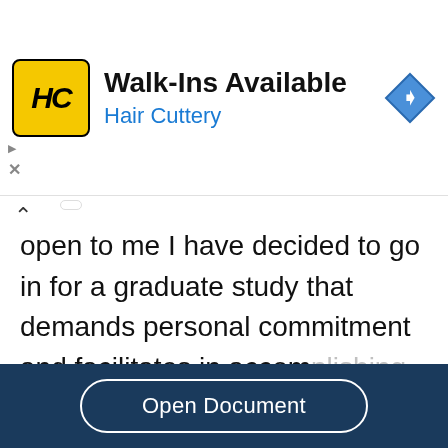[Figure (advertisement): Hair Cuttery ad banner with yellow HC logo, title 'Walk-Ins Available', subtitle 'Hair Cuttery', and blue navigation diamond icon]
open to me I have decided to go in for a graduate study that demands personal commitment and facilitates in accomplishing research. I understand that a perfect environment is vital for final success: notable...
Read More
Open Document